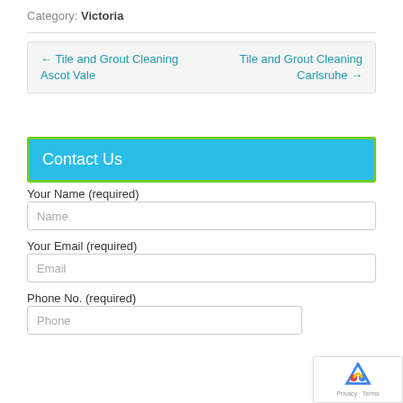Category: Victoria
← Tile and Grout Cleaning Ascot Vale    Tile and Grout Cleaning Carlsruhe →
Contact Us
Your Name (required)
Name
Your Email (required)
Email
Phone No. (required)
Phone